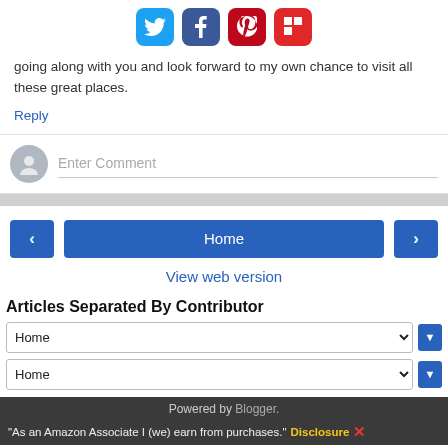[Figure (other): Social media share buttons: Twitter (blue bird), Facebook (blue f), Pinterest (red P), Flipboard (red F)]
going along with you and look forward to my own chance to visit all these great places.
Reply
[Figure (other): Comment input area with avatar circle and 'Enter Comment' placeholder text field]
Home
View web version
Articles Separated By Contributor
Home
Home
Powered by Blogger.
"As an Amazon Associate I (we) earn from purchases." Disclosure X